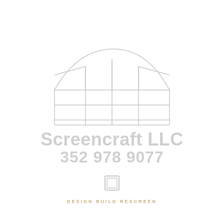[Figure (logo): Screencraft LLC company logo: a stylized screen enclosure/pergola structure drawn in light gray lines above the company name and phone number, with a small square icon and tagline below]
Screencraft LLC
352 978 9077
DESIGN BUILD RESCREEN